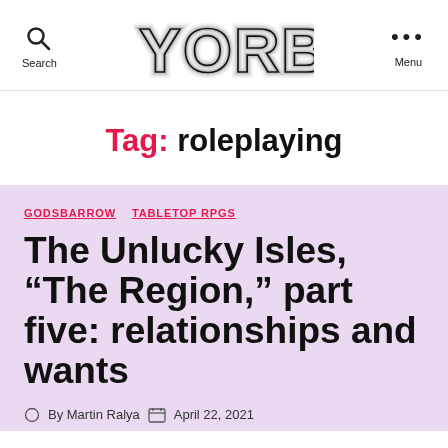YORB — Search | Menu
Tag: roleplaying
GODSBARROW   TABLETOP RPGS
The Unlucky Isles, “The Region,” part five: relationships and wants
By Martin Ralya   April 22, 2021